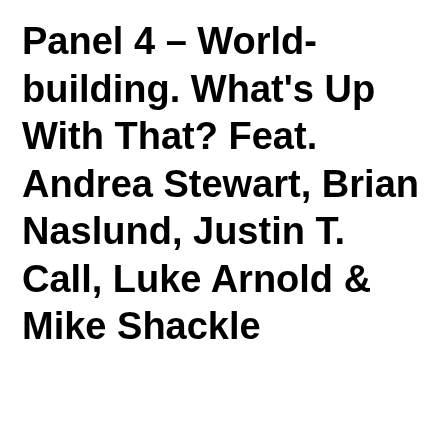Panel 4 – World-building. What's Up With That? Feat. Andrea Stewart, Brian Naslund, Justin T. Call, Luke Arnold & Mike Shackle